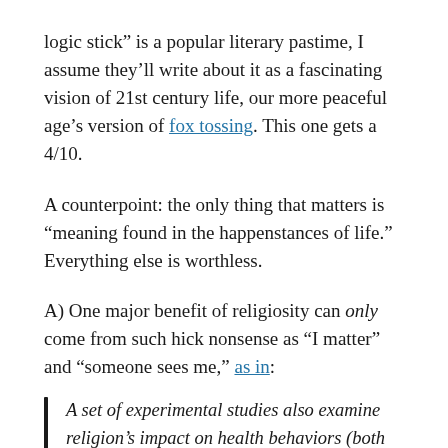logic stick” is a popular literary pastime, I assume they’ll write about it as a fascinating vision of 21st century life, our more peaceful age’s version of fox tossing. This one gets a 4/10.
A counterpoint: the only thing that matters is “meaning found in the happenstances of life.” Everything else is worthless.
A) One major benefit of religiosity can only come from such hick nonsense as “I matter” and “someone sees me,” as in:
A set of experimental studies also examine religion’s impact on health behaviors (both mental and physical), crime, and norms toward